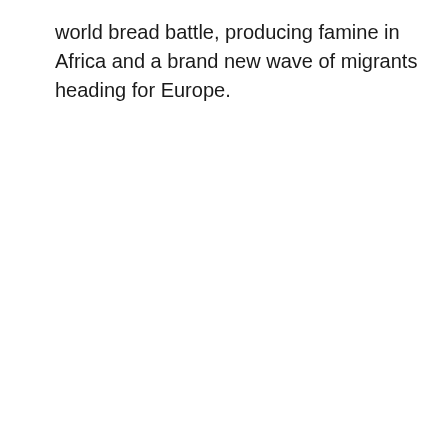world bread battle, producing famine in Africa and a brand new wave of migrants heading for Europe.